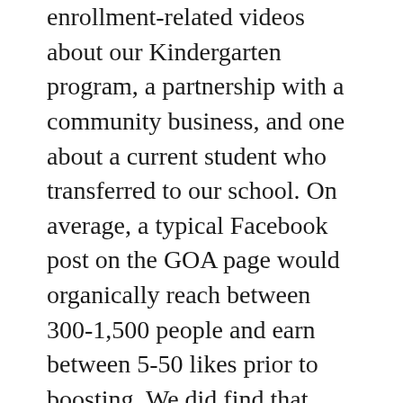enrollment-related videos about our Kindergarten program, a partnership with a community business, and one about a current student who transferred to our school. On average, a typical Facebook post on the GOA page would organically reach between 300-1,500 people and earn between 5-50 likes prior to boosting. We did find that depending on the amount paid (usually around $25 per post) and the audience chosen, our boosted posts would reach between 5,000-20,000 people. Although we did not necessarily find a correlation between a boosted post and an increase in post likes, we did find that a boosted post would bring in new page likes, which helped us achieve our goal of bringing new e. Our foray into Facebook advertising included ads and